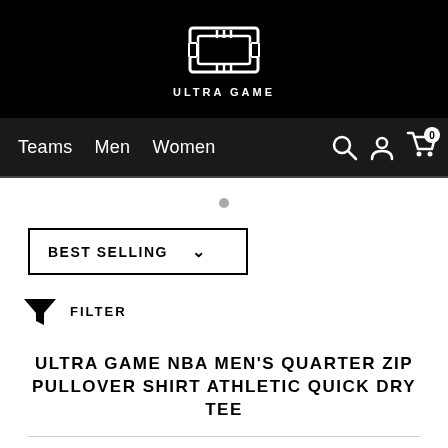[Figure (logo): Ultra Game logo with stylized G icon in white on black background, text ULTRA GAME below]
Teams  Men  Women
BEST SELLING  ∨
FILTER
ULTRA GAME NBA MEN'S QUARTER ZIP PULLOVER SHIRT ATHLETIC QUICK DRY TEE